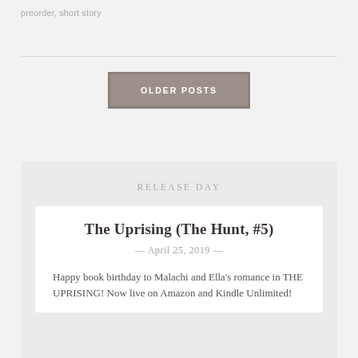preorder, short story
OLDER POSTS
RELEASE DAY
The Uprising (The Hunt, #5)
April 25, 2019
Happy book birthday to Malachi and Ella's romance in THE UPRISING! Now live on Amazon and Kindle Unlimited!